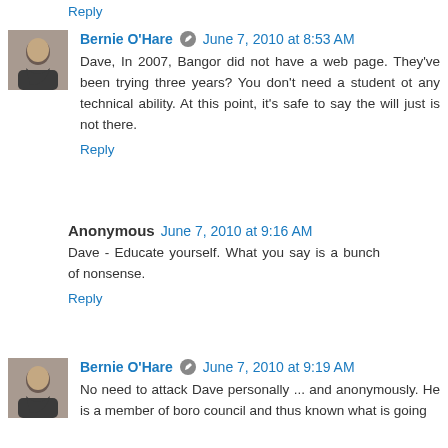Reply
Bernie O'Hare  June 7, 2010 at 8:53 AM
Dave, In 2007, Bangor did not have a web page. They've been trying three years? You don't need a student ot any technical ability. At this point, it's safe to say the will just is not there.
Reply
Anonymous  June 7, 2010 at 9:16 AM
Dave - Educate yourself. What you say is a bunch of nonsense.
Reply
Bernie O'Hare  June 7, 2010 at 9:19 AM
No need to attack Dave personally ... and anonymously. He is a member of boro council and thus known what is going